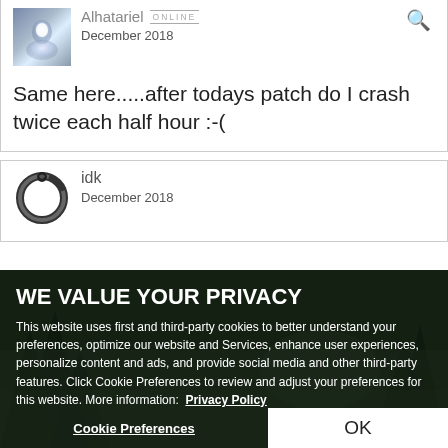Alhatariel — ONLINE — December 2018
Same here.....after todays patch do I crash twice each half hour :-(
idk — December 2018
WE VALUE YOUR PRIVACY
This website uses first and third-party cookies to better understand your preferences, optimize our website and Services, enhance user experiences, personalize content and ads, and provide social media and other third-party features. Click Cookie Preferences to review and adjust your preferences for this website. More information: Privacy Policy
Cookie Preferences
OK